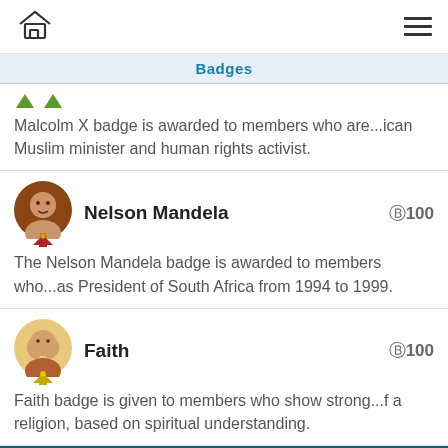Home | Menu (hamburger)
Badges
Malcolm X badge is awarded to members who are...ican Muslim minister and human rights activist.
Nelson Mandela  ⒷⒷ100
The Nelson Mandela badge is awarded to members who...as President of South Africa from 1994 to 1999.
Faith  ⒷⒷ100
Faith badge is given to members who show strong...f a religion, based on spiritual understanding.
Blaqsbi uses cookies to ensure you get the best experience on our platform. By using our website you agree to our Cookie policy .
OK. Got it.